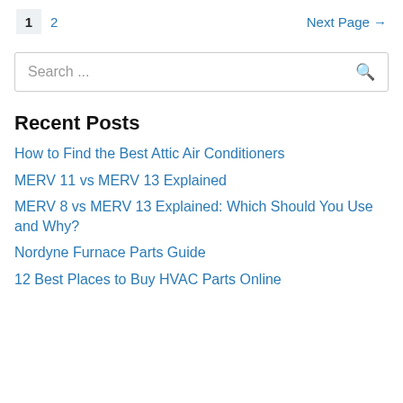1  2  Next Page →
Search ...
Recent Posts
How to Find the Best Attic Air Conditioners
MERV 11 vs MERV 13 Explained
MERV 8 vs MERV 13 Explained: Which Should You Use and Why?
Nordyne Furnace Parts Guide
12 Best Places to Buy HVAC Parts Online